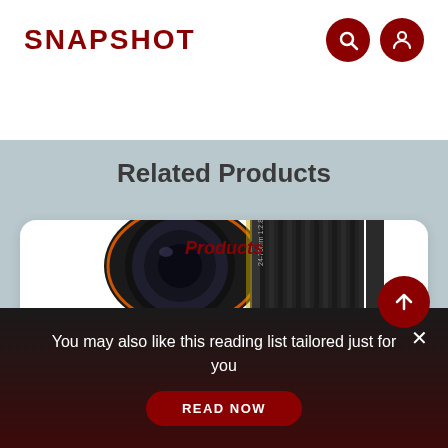SNAPSHOT
Related Products
Products
[Figure (photo): Camera lens (Canon-style zoom lens) photographed from front-side angle against white background]
You may also like this reading list tailored just for you